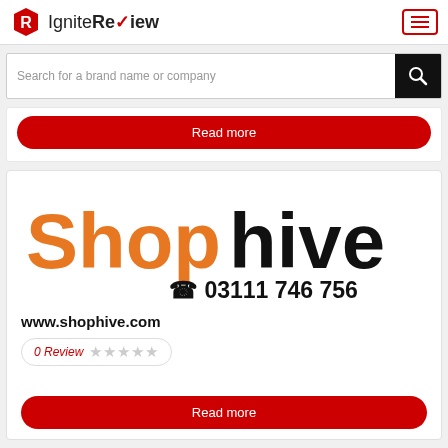[Figure (logo): IgniteReview logo with red hexagon icon and text 'IgniteReview' with red checkmark replacing the 'v']
[Figure (other): Hamburger menu button with red border and three red horizontal lines]
Search for a brand name or company
Read more
[Figure (logo): Shophive logo in orange and black with phone number 03111 746 756]
www.shophive.com
0 Review ☆☆☆☆☆
Read more